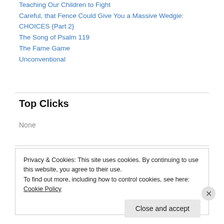Teaching Our Children to Fight
Careful, that Fence Could Give You a Massive Wedgie: CHOICES {Part 2}
The Song of Psalm 119
The Fame Game
Unconventional
Top Clicks
None
Privacy & Cookies: This site uses cookies. By continuing to use this website, you agree to their use.
To find out more, including how to control cookies, see here: Cookie Policy